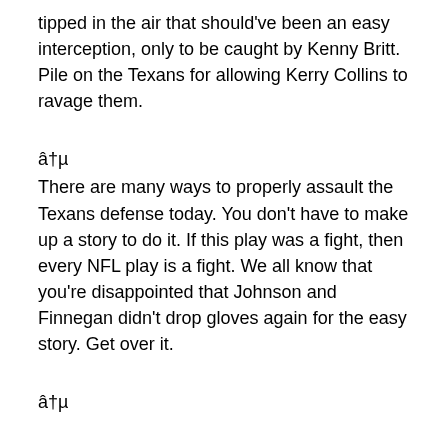tipped in the air that should've been an easy interception, only to be caught by Kenny Britt. Pile on the Texans for allowing Kerry Collins to ravage them.
â†µ
There are many ways to properly assault the Texans defense today. You don't have to make up a story to do it. If this play was a fight, then every NFL play is a fight. We all know that you're disappointed that Johnson and Finnegan didn't drop gloves again for the easy story. Get over it.
â†µ